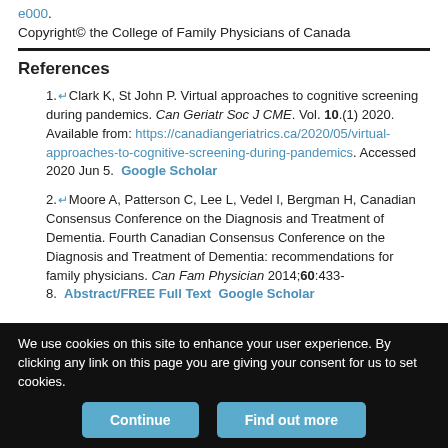e000.
Copyright© the College of Family Physicians of Canada
References
1. Clark K, St John P. Virtual approaches to cognitive screening during pandemics. Can Geriatr Soc J CME. Vol. 10.(1) 2020. Available from: https://canadiangeriatrics.ca/2020/05/virtual-approaches-to-cognitive-screening-during-pandemics. Accessed 2020 Jun 5. Google Scholar
2. Moore A, Patterson C, Lee L, Vedel I, Bergman H, Canadian Consensus Conference on the Diagnosis and Treatment of Dementia. Fourth Canadian Consensus Conference on the Diagnosis and Treatment of Dementia: recommendations for family physicians. Can Fam Physician 2014;60:433-8. Abstract/FREE Full Text Google Scholar
We use cookies on this site to enhance your user experience. By clicking any link on this page you are giving your consent for us to set cookies.